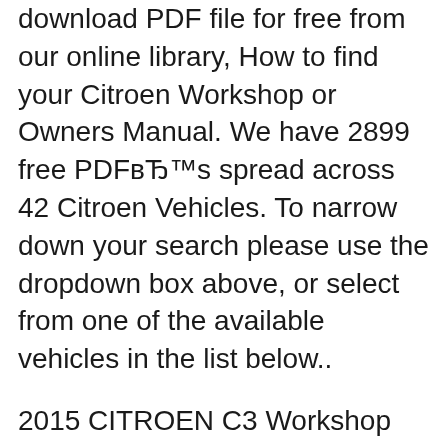download PDF file for free from our online library, How to find your Citroen Workshop or Owners Manual. We have 2899 free PDFвЂ™s spread across 42 Citroen Vehicles. To narrow down your search please use the dropdown box above, or select from one of the available vehicles in the list below..
2015 CITROEN C3 Workshop Service Repair Manual. Save this Book to Read citroen c3 picasso workshop manual PDF eBook at our Online Library. Get citroen c3 picasso workshop manual PDF file for free from our online library, Citroen C3 Service Manual Pdf.pdf - Free download Ebook, Handbook, Textbook, User Guide PDF files on the internet